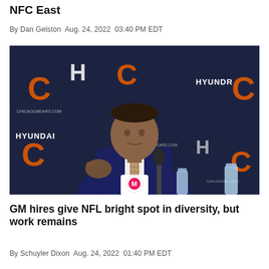NFC East
By Dan Gelston Aug. 24, 2022 03:40 PM EDT
[Figure (photo): A man in a navy suit with a patterned tie sitting at a press conference table with a Motorola microphone in front of him. Behind him is a Chicago Bears and Hyundai branded backdrop.]
GM hires give NFL bright spot in diversity, but work remains
By Schuyler Dixon Aug. 24, 2022 01:40 PM EDT